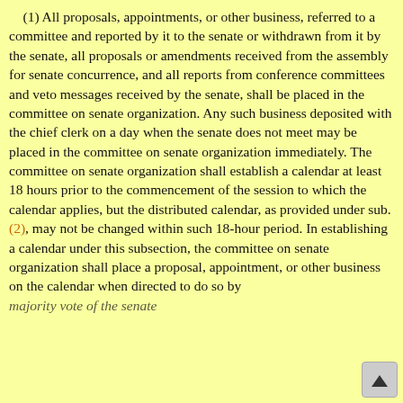(1) All proposals, appointments, or other business, referred to a committee and reported by it to the senate or withdrawn from it by the senate, all proposals or amendments received from the assembly for senate concurrence, and all reports from conference committees and veto messages received by the senate, shall be placed in the committee on senate organization. Any such business deposited with the chief clerk on a day when the senate does not meet may be placed in the committee on senate organization immediately. The committee on senate organization shall establish a calendar at least 18 hours prior to the commencement of the session to which the calendar applies, but the distributed calendar, as provided under sub. (2), may not be changed within such 18-hour period. In establishing a calendar under this subsection, the committee on senate organization shall place a proposal, appointment, or other business on the calendar when directed to do so b[y a majority vote of the senate]